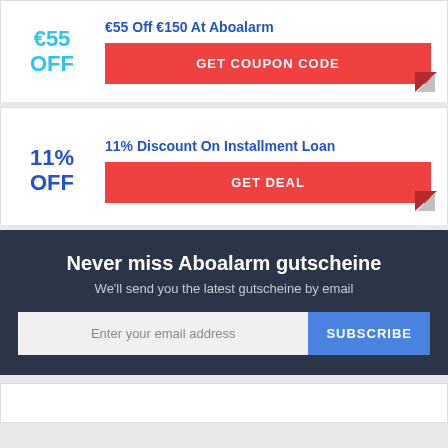€55 OFF
€55 Off €150 At Aboalarm
GET COUPON CODE
11% OFF
11% Discount On Installment Loan
GET DEAL
Never miss Aboalarm gutscheine
We'll send you the latest gutscheine by email
Enter your email address
SUBSCRIBE